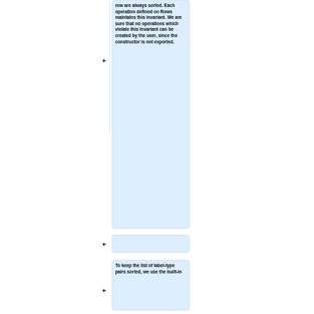row are always sorted. Each operation defined on Rows maintains this invariant. We are sure that no operations which violate this invariant can be created by the user, since the constructor is not exported.
To keep the list of label-type pairs sorted, we use the built-in